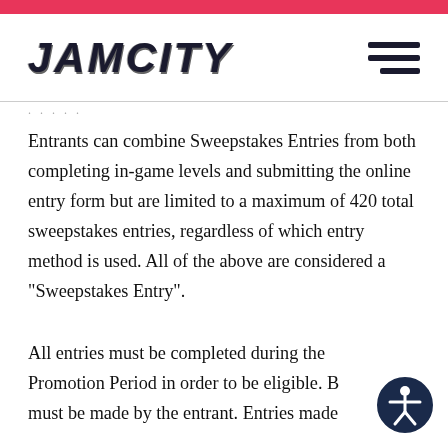JAMCITY
Entrants can combine Sweepstakes Entries from both completing in-game levels and submitting the online entry form but are limited to a maximum of 420 total sweepstakes entries, regardless of which entry method is used. All of the above are considered a “Sweepstakes Entry”.
All entries must be completed during the Promotion Period in order to be eligible. B... must be made by the entrant. Entries made